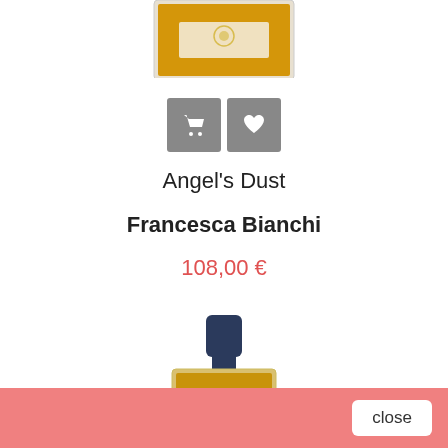[Figure (photo): Partial view of a perfume bottle (Angel's Dust by Francesca Bianchi) cropped at top of page, showing an amber/golden liquid in a clear rectangular bottle]
[Figure (screenshot): Two square grey icon buttons: a shopping cart icon and a heart/wishlist icon]
Angel's Dust
Francesca Bianchi
108,00 €
[Figure (photo): Perfume bottle for 'The Black Knight' by Francesca Bianchi, showing a rectangular bottle with dark navy cap, amber/golden liquid, and white label reading THE BLACK KNIGHT francescabianchi]
close